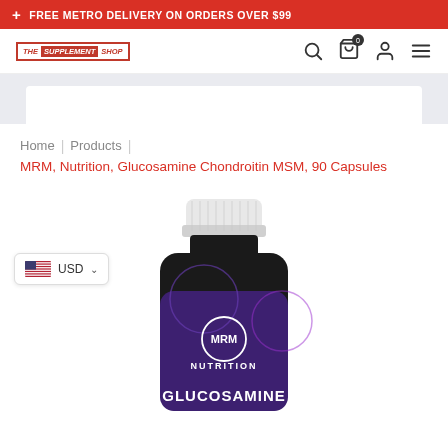+ FREE METRO DELIVERY ON ORDERS OVER $99
[Figure (logo): The Supplement Shop logo with navigation icons (search, cart with 0 items, user, menu)]
Home | Products | MRM, Nutrition, Glucosamine Chondroitin MSM, 90 Capsules
[Figure (photo): MRM Nutrition Glucosamine Chondroitin MSM 90 Capsules supplement bottle with dark purple label and white cap]
USD